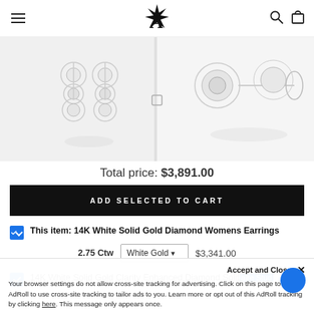Navigation header with hamburger menu, logo (stylized A with diamond), search and cart icons
[Figure (photo): Two product photos side by side: left shows dangling diamond earrings in white gold, right shows diamond stud earrings in white gold settings]
Total price: $3,891.00
ADD SELECTED TO CART
This item: 14K White Solid Gold Diamond Womens Earrings
2.75 Ctw  White Gold  $3,341.00
14K White Solid Gold Clarity Enhanced Diamond Solit... Stud
Accept and Close ✕
Your browser settings do not allow cross-site tracking for advertising. Click on this page to allow AdRoll to use cross-site tracking to tailor ads to you. Learn more or opt out of this AdRoll tracking by clicking here. This message only appears once.